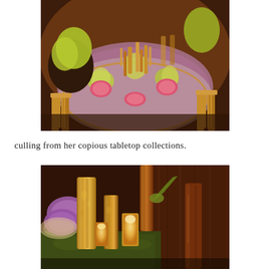[Figure (photo): Elegant round banquet table set with colorful patterned tablecloth in purple and gold, green floral napkins, pink charger plates, gold candleholders and glassware, surrounded by gold chiavari chairs in a warmly lit venue.]
culling from her copious tabletop collections.
[Figure (photo): Close-up of gold mercury glass vases, candleholders with glowing candles, and tall cylindrical vessels arranged on green moss, with purple place settings visible in the background, in a warmly lit setting.]